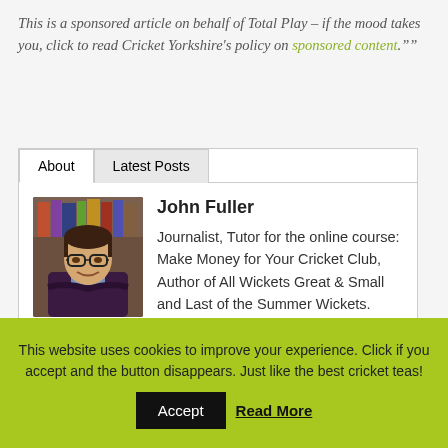This is a sponsored article on behalf of Total Play – if the mood takes you, click to read Cricket Yorkshire's policy on sponsored content."
[Figure (photo): Author box with tabs 'About' and 'Latest Posts'. Photo of John Fuller, a man with glasses wearing a dark sweater, arms crossed, smiling. Accompanied by name and bio text.]
John Fuller
Journalist, Tutor for the online course: Make Money for Your Cricket Club, Author of All Wickets Great & Small and Last of the Summer Wickets.
This website uses cookies to improve your experience. Click if you accept and the button disappears. Just like the best cricket teas!